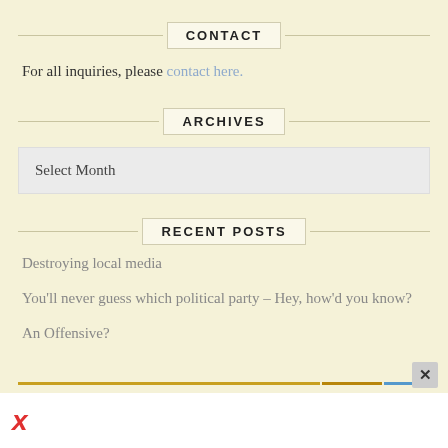CONTACT
For all inquiries, please contact here.
ARCHIVES
Select Month
RECENT POSTS
Destroying local media
You'll never guess which political party – Hey, how'd you know?
An Offensive?